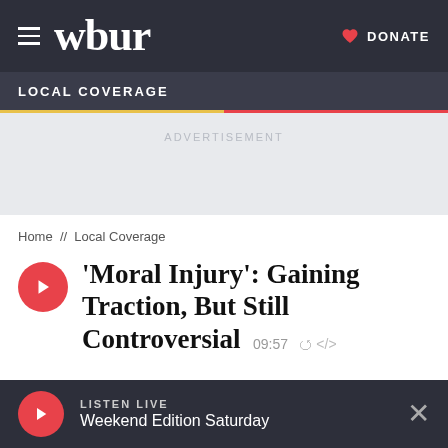wbur  DONATE
LOCAL COVERAGE
ADVERTISEMENT
Home // Local Coverage
'Moral Injury': Gaining Traction, But Still Controversial  09:57
LISTEN LIVE  Weekend Edition Saturday